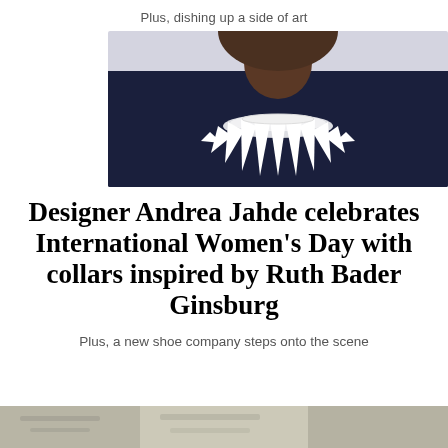Plus, dishing up a side of art
[Figure (photo): Close-up photo of a person wearing a dark navy garment with a white decorative collar featuring spiky/feathered points inspired by Ruth Bader Ginsburg's jabot, photographed against a light gray background]
Designer Andrea Jahde celebrates International Women's Day with collars inspired by Ruth Bader Ginsburg
Plus, a new shoe company steps onto the scene
[Figure (photo): Partial bottom photo, cut off at the page edge]